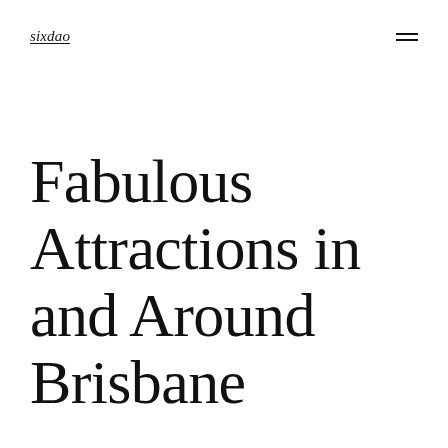sixdao
Fabulous Attractions in and Around Brisbane